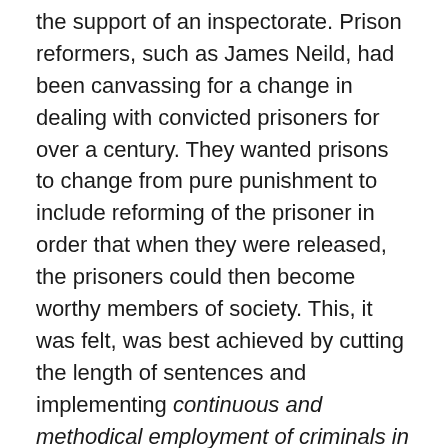the support of an inspectorate. Prison reformers, such as James Neild, had been canvassing for a change in dealing with convicted prisoners for over a century. They wanted prisons to change from pure punishment to include reforming of the prisoner in order that when they were released, the prisoners could then become worthy members of society. This, it was felt, was best achieved by cutting the length of sentences and implementing continuous and methodical employment of criminals in useful labour. These reforms were to be implemented under the authority of the Convict Labour Commission.
The following five years saw a general fall in the number of prison inmates while the general population increased. Although this could be attributed to the implementation of reduced sentencing the Convict Labour Commission